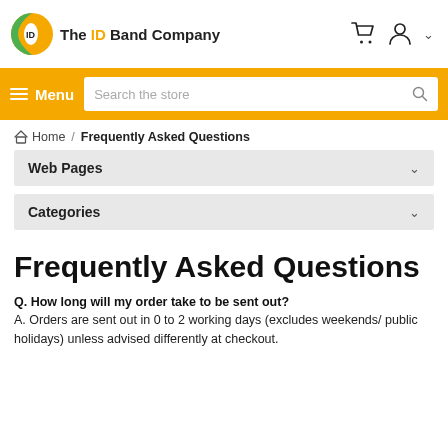[Figure (logo): The ID Band Company logo — circular globe icon in green and yellow with company name text]
The ID Band Company — navigation header with cart and user icons
Menu  Search the store
Home / Frequently Asked Questions
Web Pages
Categories
Frequently Asked Questions
Q. How long will my order take to be sent out?
A. Orders are sent out in 0 to 2 working days (excludes weekends/ public holidays) unless advised differently at checkout.